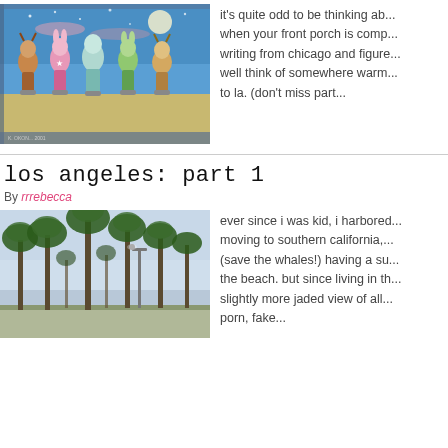[Figure (photo): A colorful mosaic mural on a building exterior showing cartoon-like figures including animals and fantasy characters roller skating on a beach, with a starry sky background.]
it's quite odd to be thinking ab... when your front porch is comp... writing from chicago and figure... well think of somewhere warm... to la. (don't miss part...
los angeles: part 1
By rrrebecca
[Figure (photo): A row of tall palm trees silhouetted against a hazy sky, with a street lamp visible and a wide open area in the foreground.]
ever since i was kid, i harbored... moving to southern california,... (save the whales!) having a su... the beach. but since living in th... slightly more jaded view of all... porn, fake...